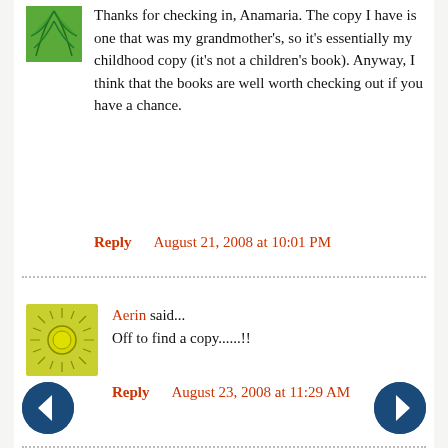[Figure (illustration): Green leaf/plant avatar icon]
Thanks for checking in, Anamaria. The copy I have is one that was my grandmother's, so it's essentially my childhood copy (it's not a children's book). Anyway, I think that the books are well worth checking out if you have a chance.
Reply    August 21, 2008 at 10:01 PM
[Figure (illustration): Yellow sun avatar icon]
Aerin said... Off to find a copy......!!
Reply    August 23, 2008 at 11:29 AM
[Figure (other): Left navigation arrow button]
[Figure (other): Right navigation arrow button]